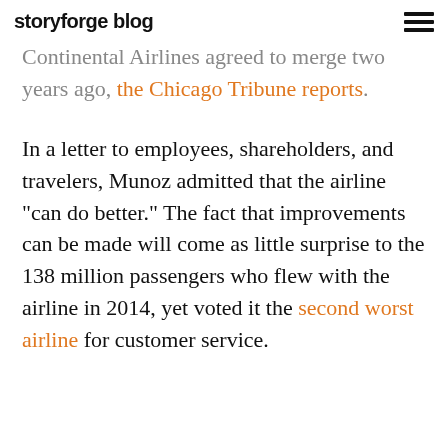storyforge blog
Continental Airlines agreed to merge two years ago, the Chicago Tribune reports.
In a letter to employees, shareholders, and travelers, Munoz admitted that the airline “can do better.” The fact that improvements can be made will come as little surprise to the 138 million passengers who flew with the airline in 2014, yet voted it the second worst airline for customer service.